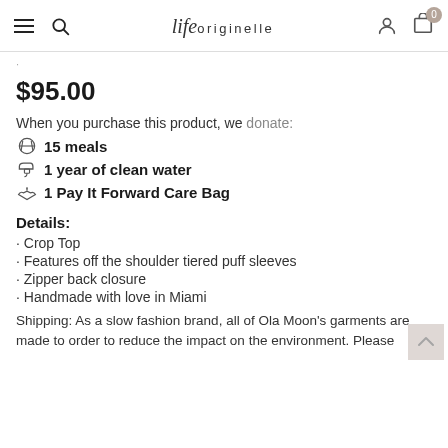life originelle — navigation header with menu, search, account, cart (0)
$95.00
When you purchase this product, we donate:
15 meals
1 year of clean water
1 Pay It Forward Care Bag
Details:
Crop Top
Features off the shoulder tiered puff sleeves
Zipper back closure
Handmade with love in Miami
Shipping: As a slow fashion brand, all of Ola Moon's garments are made to order to reduce the impact on the environment. Please